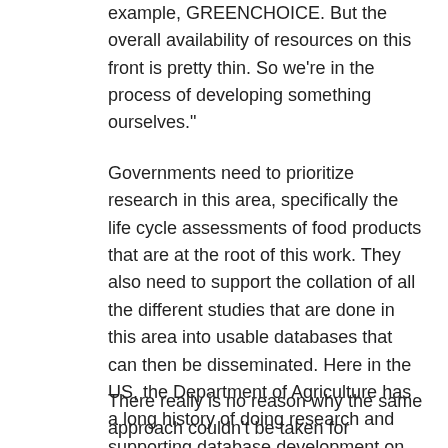example, GREENCHOICE. But the overall availability of resources on this front is pretty thin. So we're in the process of developing something ourselves."
Governments need to prioritize research in this area, specifically the life cycle assessments of food products that are at the root of this work. They also need to support the collation of all the different studies that are done in this area into usable databases that can then be disseminated. Here in the US, the Department of Agriculture has a long history of doing research and supporting database development on the nutrient composition of foods. This has allowed third-party developers to create diet assessment apps, which the public can then use to assess their own food choices based on nutrition.
There really is no reason why the same approach couldn't be taken for assessing [the] environmental impacts of diets, other than perhaps a lack of awareness